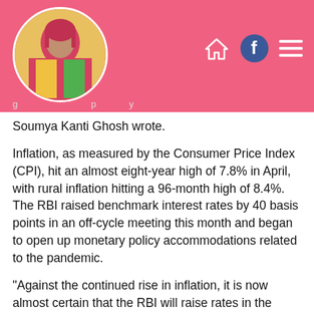[Figure (photo): Circular avatar photo of a person in colorful outfit (red, yellow, green) against pink header bar background, with home icon, Facebook icon, and hamburger menu icon in the top-right navigation area]
Soumya Kanti Ghosh wrote.
Inflation, as measured by the Consumer Price Index (CPI), hit an almost eight-year high of 7.8% in April, with rural inflation hitting a 96-month high of 8.4%. The RBI raised benchmark interest rates by 40 basis points in an off-cycle meeting this month and began to open up monetary policy accommodations related to the pandemic.
“Against the continued rise in inflation, it is now almost certain that the RBI will raise rates in the upcoming June and August policy and take it to the pre-pandemic level of 5.15% by August,” Mr. Ghosh said. “However, the key challenge before the central bank remains is whether such rate hikes will bring down inflation in a meaningful way if war-related disruptions do not ease quickly,” he